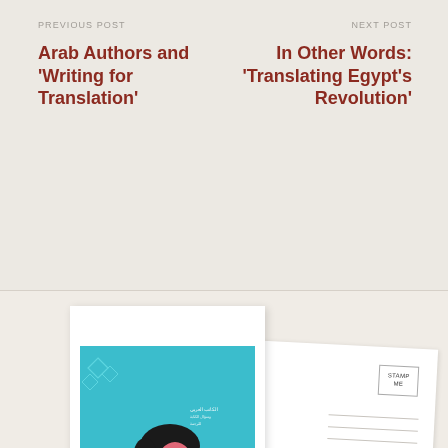PREVIOUS POST
NEXT POST
Arab Authors and 'Writing for Translation'
In Other Words: 'Translating Egypt's Revolution'
[Figure (illustration): Book cover with turquoise background showing a stylized figure with pink face looking upward, decorative Arabic calligraphy elements, and a postcard showing a stamp box labeled STAMP ME with horizontal lines below]